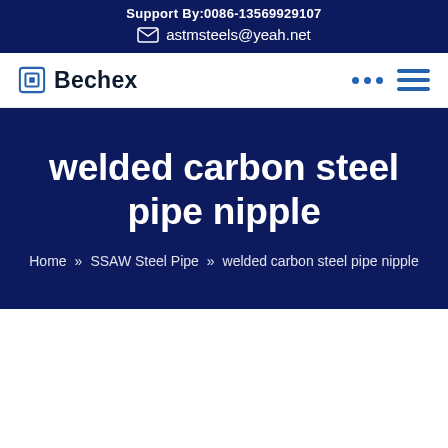Support By:0086-13569929107
astmsteels@yeah.net
[Figure (logo): Bechex company logo with blue square icon and bold text]
welded carbon steel pipe nipple
Home » SSAW Steel Pipe » welded carbon steel pipe nipple